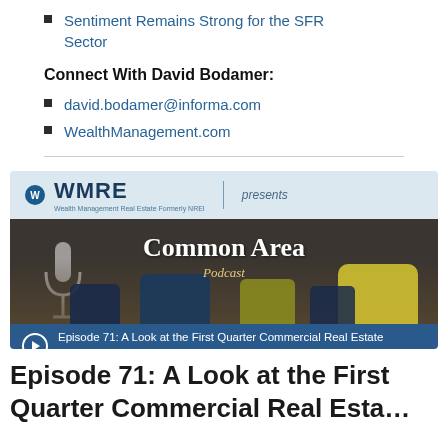Sentiment Remains Strong for the SFR Sector
Connect With David Bodamer:
david.bodamer@informa.com
WealthManagement.com
[Figure (illustration): WMRE Common Area Podcast banner image. Shows logo 'WMRE presents Common Area Podcast' with interior lounge chairs. Episode 71: A Look at the First Quarter Commercial Real Estate Investment Numbers with Darin Mellott]
Episode 71: A Look at the First Quarter Commercial Real Estate